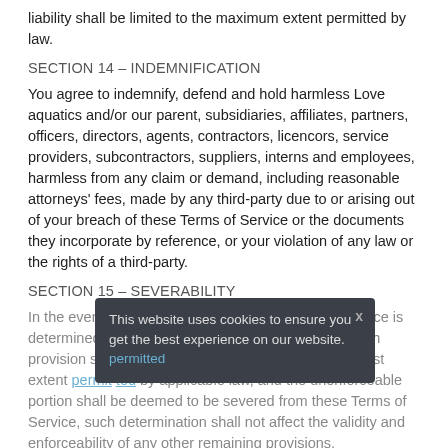liability shall be limited to the maximum extent permitted by law.
SECTION 14 – INDEMNIFICATION
You agree to indemnify, defend and hold harmless Love aquatics and/or our parent, subsidiaries, affiliates, partners, officers, directors, agents, contractors, licencors, service providers, subcontractors, suppliers, interns and employees, harmless from any claim or demand, including reasonable attorneys' fees, made by any third-party due to or arising out of your breach of these Terms of Service or the documents they incorporate by reference, or your violation of any law or the rights of a third-party.
SECTION 15 – SEVERABILITY
In the event that any provision of these Terms of Service is determined to be unlawful, void or unenforceable, such provision shall nonetheless be enforceable to the fullest extent permitted by applicable law, and the unenforceable portion shall be deemed to be severed from these Terms of Service, such determination shall not affect the validity and enforceability of any other remaining provisions.
This website uses cookies to ensure you get the best experience on our website. permitted